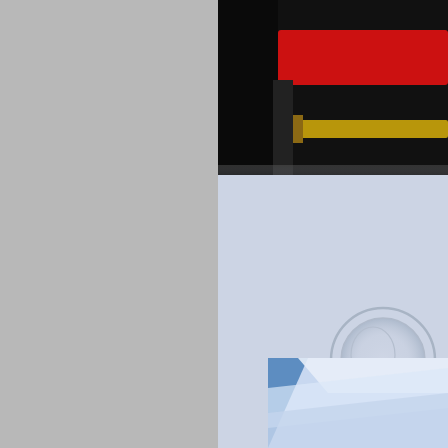[Figure (photo): Close-up photo showing embossing die tools (dark objects with red and gold elements) at top, and an embossed paper/card with a circular embossed design below, on a pale blue-white background.]
Should I have an embossing die o
(pushes up) the impression or debosses (p artwork has fine, close detail then debossin photograph's surface, but still leaves a per of embossing better as its more noticable a cracking emulsion problems from embossi of debossing.
[Figure (photo): Close-up photo of blue and white paper/card at an angle, showing embossed or printed surface.]